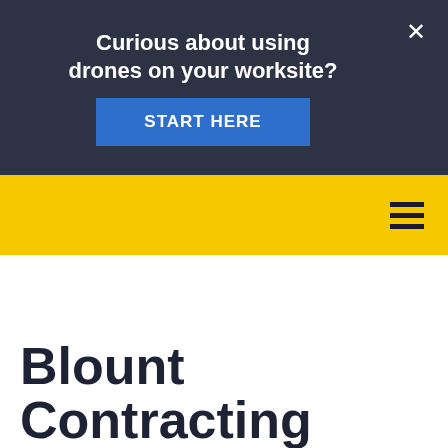Curious about using drones on your worksite?
START HERE
[Figure (screenshot): Yellow navigation bar with hamburger menu icon]
Blount Contracting Saves Procuring